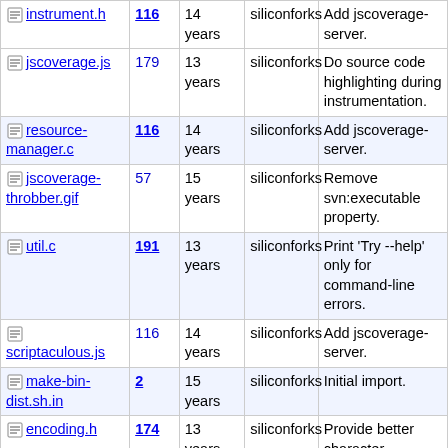| Name | Rev | Age | Author | Message |
| --- | --- | --- | --- | --- |
| instrument.h | 116 | 14 years | siliconforks | Add jscoverage-server. |
| jscoverage.js | 179 | 13 years | siliconforks | Do source code highlighting during instrumentation. |
| resource-manager.c | 116 | 14 years | siliconforks | Add jscoverage-server. |
| jscoverage-throbber.gif | 57 | 15 years | siliconforks | Remove svn:executable property. |
| util.c | 191 | 13 years | siliconforks | Print 'Try --help' only for command-line errors. |
| scriptaculous.js | 116 | 14 years | siliconforks | Add jscoverage-server. |
| make-bin-dist.sh.in | 2 | 15 years | siliconforks | Initial import. |
| encoding.h | 174 | 13 years | siliconforks | Provide better character encoding support. |
| scriptaculous-data.html | 2 | 15 years | siliconforks | Initial import. |
| ... | 125 | 14 years | siliconforks | Fixes for compiling... |